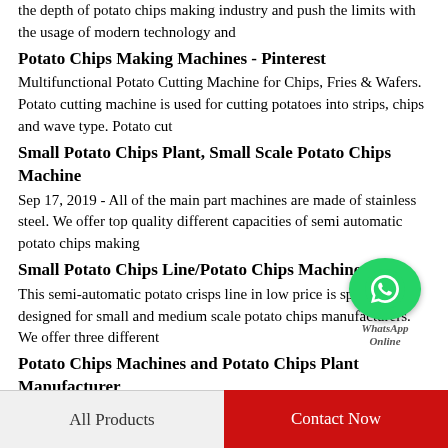the depth of potato chips making industry and push the limits with the usage of modern technology and
Potato Chips Making Machines - Pinterest
Multifunctional Potato Cutting Machine for Chips, Fries & Wafers. Potato cutting machine is used for cutting potatoes into strips, chips and wave type. Potato cut
Small Potato Chips Plant, Small Scale Potato Chips Machine
Sep 17, 2019 - All of the main part machines are made of stainless steel. We offer top quality different capacities of semi automatic potato chips making
[Figure (logo): WhatsApp green circular icon with phone handset, labeled WhatsApp Online]
Small Potato Chips Line/Potato Chips Machinery
This semi-automatic potato crisps line in low price is specially designed for small and medium scale potato chips manufacturers. We offer three different
Potato Chips Machines and Potato Chips Plant Manufacturer
All Products | Contact Now